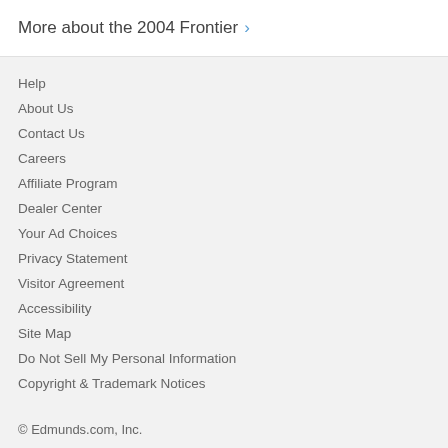More about the 2004 Frontier >
Help
About Us
Contact Us
Careers
Affiliate Program
Dealer Center
Your Ad Choices
Privacy Statement
Visitor Agreement
Accessibility
Site Map
Do Not Sell My Personal Information
Copyright & Trademark Notices
© Edmunds.com, Inc.